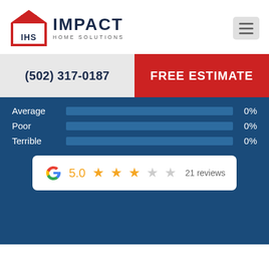[Figure (logo): Impact Home Solutions logo with IHS house icon in red and navy, company name in dark navy bold text, tagline 'HOME SOLUTIONS' in grey]
[Figure (other): Hamburger menu icon (three horizontal lines) in a light grey rounded square]
(502) 317-0187
FREE ESTIMATE
Average  0%
Poor  0%
Terrible  0%
[Figure (other): Google review widget showing G logo, score 5.0, 2 filled stars and partial/empty stars, '21 reviews']